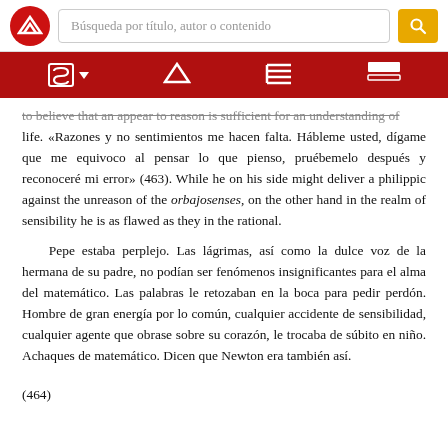Screenshot of a digital reading platform with logo, search bar, and navigation toolbar
to believe that an appear to reason is sufficient for an understanding of life. «Razones y no sentimientos me hacen falta. Hábleme usted, dígame que me equivoco al pensar lo que pienso, pruébemelo después y reconoceré mi error» (463). While he on his side might deliver a philippic against the unreason of the orbajosenses, on the other hand in the realm of sensibility he is as flawed as they in the rational.
Pepe estaba perplejo. Las lágrimas, así como la dulce voz de la hermana de su padre, no podían ser fenómenos insignificantes para el alma del matemático. Las palabras le retozaban en la boca para pedir perdón. Hombre de gran energía por lo común, cualquier accidente de sensibilidad, cualquier agente que obrase sobre su corazón, le trocaba de súbito en niño. Achaques de matemático. Dicen que Newton era también así.
(464)